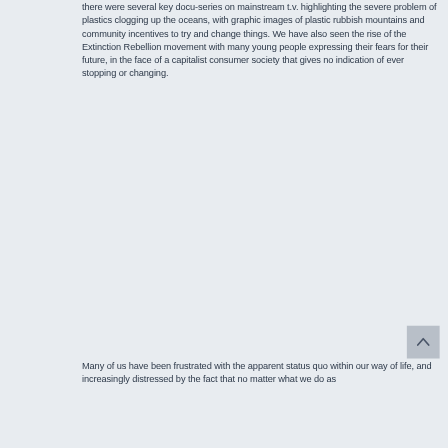there were several key docu-series on mainstream t.v. highlighting the severe problem of plastics clogging up the oceans, with graphic images of plastic rubbish mountains and community incentives to try and change things. We have also seen the rise of the Extinction Rebellion movement with many young people expressing their fears for their future, in the face of a capitalist consumer society that gives no indication of ever stopping or changing.
[Figure (other): A grey back-to-top button with an upward pointing chevron/caret arrow]
Many of us have been frustrated with the apparent status quo within our way of life, and increasingly distressed by the fact that no matter what we do as